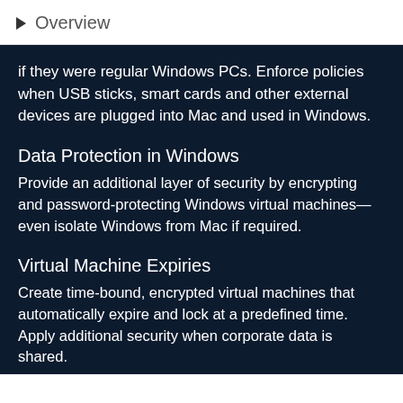Overview
if they were regular Windows PCs. Enforce policies when USB sticks, smart cards and other external devices are plugged into Mac and used in Windows.
Data Protection in Windows
Provide an additional layer of security by encrypting and password-protecting Windows virtual machines—even isolate Windows from Mac if required.
Virtual Machine Expiries
Create time-bound, encrypted virtual machines that automatically expire and lock at a predefined time. Apply additional security when corporate data is shared.